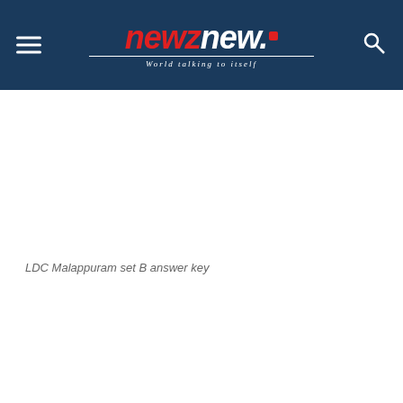newznew. — World talking to itself
LDC Malappuram set B answer key